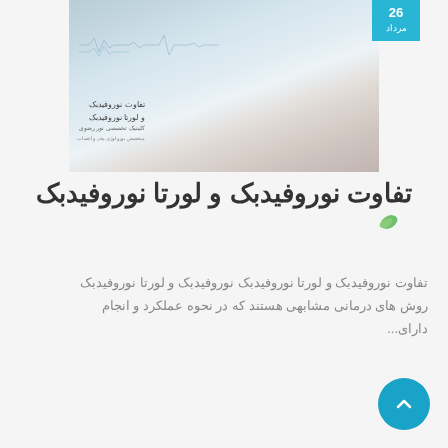[Figure (photo): A woman's face with eyes closed, overlaid with faint waveform lines and Persian text about neurofeedback. An image from a medical/beauty clinic website.]
تفاوت نوروفیدبک و لورتا نوروفیدبک
تفاوت نوروفیدبک و لورتا نوروفیدبک نوروفیدبک و لورتا نوروفیدبک روش های درمانی مشابهی هستند که در نحوه عملکرد و انجام دارای...